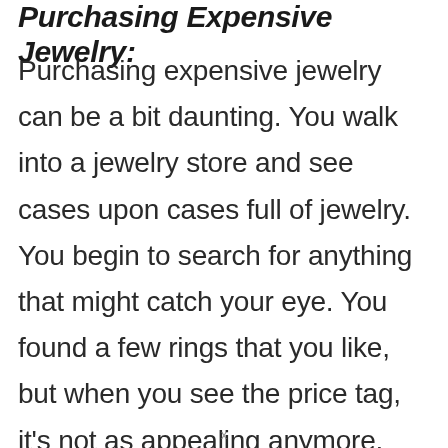Purchasing Expensive Jewelry:
Purchasing expensive jewelry can be a bit daunting. You walk into a jewelry store and see cases upon cases full of jewelry. You begin to search for anything that might catch your eye. You found a few rings that you like, but when you see the price tag, it's not as appealing anymore.